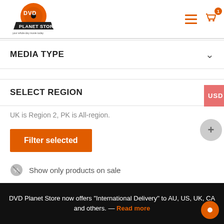[Figure (logo): DVD Planet Store logo — orange disc with text and tagline 'your whole day movie today']
MEDIA TYPE
SELECT REGION
UK is Region 2, PK is All-region.
Filter selected
Show only products on sale
In stock only
Clear all filters
DVD Planet Store now offers "International Delivery" to AU, US, UK, CA and others. — Read more